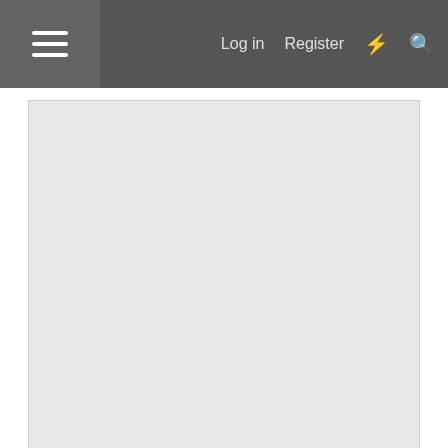Log in  Register
[Figure (screenshot): Advertisement placeholder area (gray box)]
Report Ad
Jun 15, 2006  #2
Heather
Administrator
Report Ad